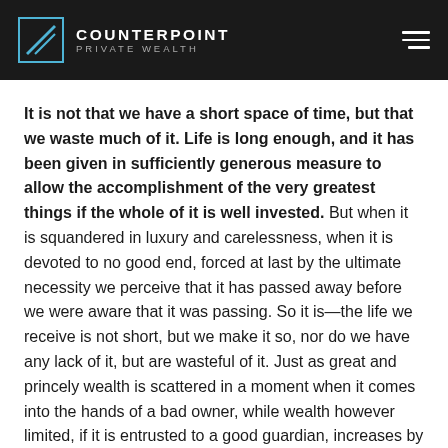COUNTERPOINT PRIVATE WEALTH
It is not that we have a short space of time, but that we waste much of it. Life is long enough, and it has been given in sufficiently generous measure to allow the accomplishment of the very greatest things if the whole of it is well invested. But when it is squandered in luxury and carelessness, when it is devoted to no good end, forced at last by the ultimate necessity we perceive that it has passed away before we were aware that it was passing. So it is—the life we receive is not short, but we make it so, nor do we have any lack of it, but are wasteful of it. Just as great and princely wealth is scattered in a moment when it comes into the hands of a bad owner, while wealth however limited, if it is entrusted to a good guardian, increases by use, so our life is amply long for